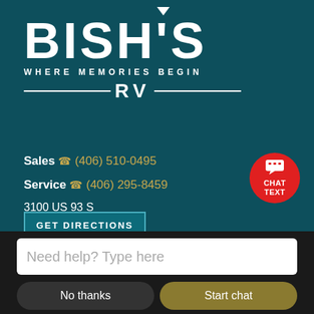[Figure (logo): Bish's RV logo — large bold white text 'BISH'S' with a downward chevron above the apostrophe, subtitle 'WHERE MEMORIES BEGIN', and 'RV' flanked by horizontal lines, all on a dark teal background]
Sales (406) 510-0495
Service (406) 295-8459
3100 US 93 S
Kalispell, MT 59901
[Figure (illustration): Red circular chat/text button with speech bubble icon and text 'CHAT TEXT']
GET DIRECTIONS
Need help? Type here
No thanks
Start chat